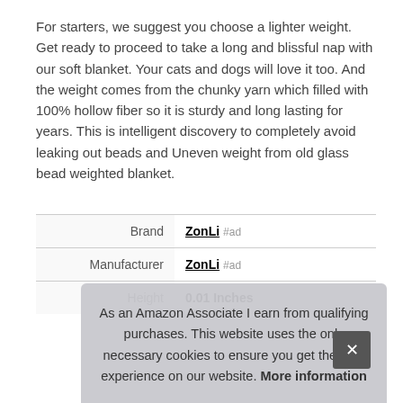For starters, we suggest you choose a lighter weight. Get ready to proceed to take a long and blissful nap with our soft blanket. Your cats and dogs will love it too. And the weight comes from the chunky yarn which filled with 100% hollow fiber so it is sturdy and long lasting for years. This is intelligent discovery to completely avoid leaking out beads and Uneven weight from old glass bead weighted blanket.
| Brand | ZonLi #ad |
| Manufacturer | ZonLi #ad |
| Height | 0.01 Inches |
As an Amazon Associate I earn from qualifying purchases. This website uses the only necessary cookies to ensure you get the best experience on our website. More information